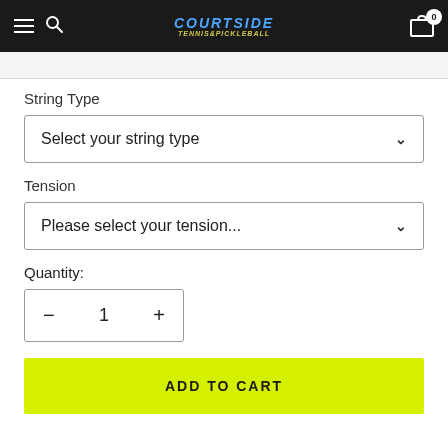Courtside Tennis & Pickleball — navigation header with hamburger menu, search, logo, and cart icon (0 items)
String Type
Select your string type
Tension
Please select your tension...
Quantity:
1
ADD TO CART